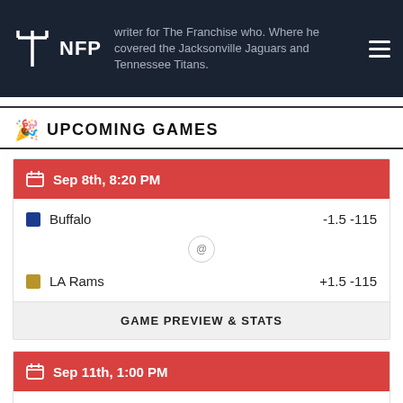NFP — writer for The Franchise who. Where he covered the Jacksonville Jaguars and Tennessee Titans.
UPCOMING GAMES
Sep 8th, 8:20 PM
Buffalo -1.5 -115
@ LA Rams +1.5 -115
GAME PREVIEW & STATS
Sep 11th, 1:00 PM
Indianapolis -8.5 -118
@ Houston +8.5 -118